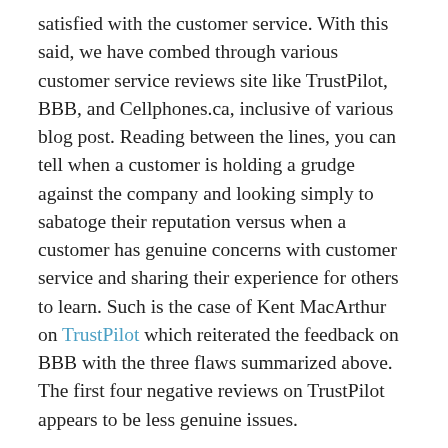satisfied with the customer service. With this said, we have combed through various customer service reviews site like TrustPilot, BBB, and Cellphones.ca, inclusive of various blog post. Reading between the lines, you can tell when a customer is holding a grudge against the company and looking simply to sabatoge their reputation versus when a customer has genuine concerns with customer service and sharing their experience for others to learn. Such is the case of Kent MacArthur on TrustPilot which reiterated the feedback on BBB with the three flaws summarized above. The first four negative reviews on TrustPilot appears to be less genuine issues.
Perks: Virgin Mobile provides quite a few perks and benefits from their customers, known as “members”. They really emphasize on member benefits. These benefits come in the form of exclusive discounts from